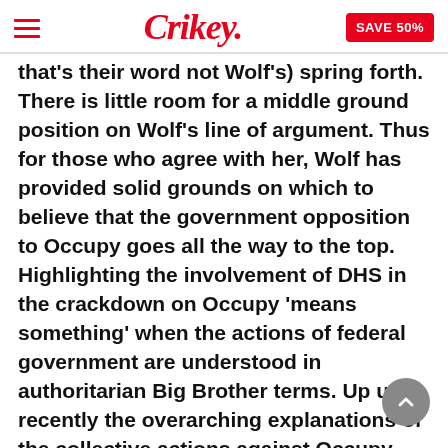Crikey. | SAVE 50%
that's their word not Wolf's) spring forth. There is little room for a middle ground position on Wolf's line of argument. Thus for those who agree with her, Wolf has provided solid grounds on which to believe that the government opposition to Occupy goes all the way to the top. Highlighting the involvement of DHS in the crackdown on Occupy 'means something' when the actions of federal government are understood in authoritarian Big Brother terms. Up until recently the overarching explanations of the collective actions against Occupy lacked coherency given that these actions has been made up of a seemingly baffling combination of police violence and banal enforcement of local council regulations.